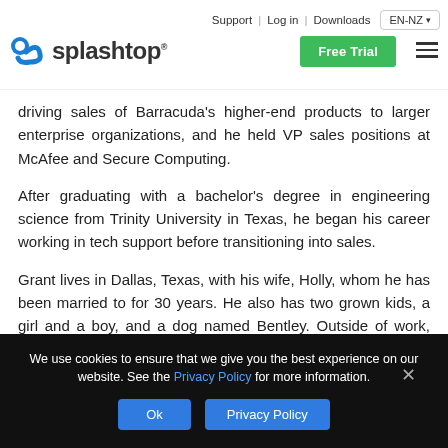Support | Log in | Downloads | EN-NZ | Splashtop | Free Trial
driving sales of Barracuda's higher-end products to larger enterprise organizations, and he held VP sales positions at McAfee and Secure Computing.
After graduating with a bachelor's degree in engineering science from Trinity University in Texas, he began his career working in tech support before transitioning into sales.
Grant lives in Dallas, Texas, with his wife, Holly, whom he has been married to for 30 years. He also has two grown kids, a girl and a boy, and a dog named Bentley. Outside of work, Grant can be found performing Karaoke or listening to music like Radiohead, Green
We use cookies to ensure that we give you the best experience on our website. See the Privacy Policy for more information.